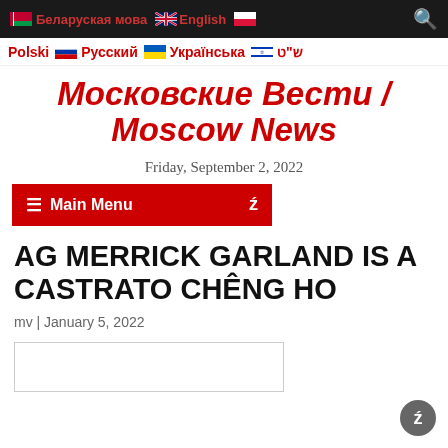Беларуская мова  English  (search icon)
Polski  Русский  Українська  ש"ט
Московские Вести / Moscow News
Friday, September 2, 2022
Main Menu
AG MERRICK GARLAND IS A CASTRATO CHÊNG HO
mv | January 5, 2022